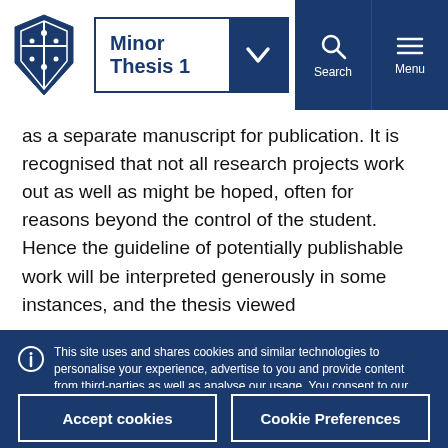Minor Thesis 1
as a separate manuscript for publication. It is recognised that not all research projects work out as well as might be hoped, often for reasons beyond the control of the student. Hence the guideline of potentially publishable work will be interpreted generously in some instances, and the thesis viewed
This site uses and shares cookies and similar technologies to personalise your experience, advertise to you and provide content from third-parties as well as analyse our usage. You consent to our use of such technologies by proceeding. You can change your mind or consent choices at any time. Visit our Privacy Statement for further information.
Accept cookies
Cookie Preferences